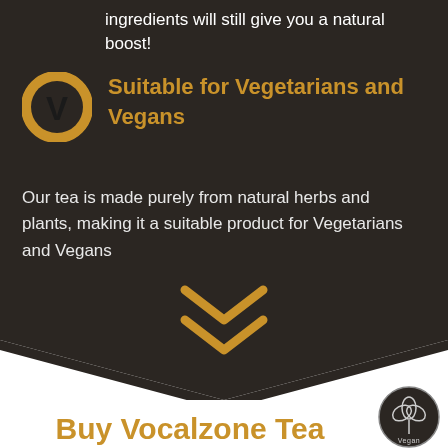ingredients will still give you a natural boost!
[Figure (illustration): Gold circle with black V letter inside, vegetarian/vegan icon]
Suitable for Vegetarians and Vegans
Our tea is made purely from natural herbs and plants, making it a suitable product for Vegetarians and Vegans
[Figure (illustration): Downward pointing dark arrow/chevron shape with gold double chevron, transitioning from dark background to white]
Buy Vocalzone Tea
[Figure (logo): Vegan society logo - circular dark badge with plant illustration and Vegan text]